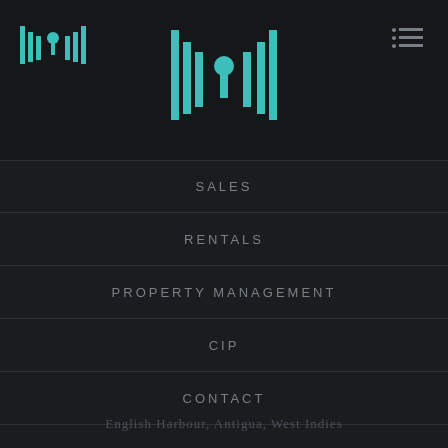[Figure (logo): Small teal logo with vertical bars and tree icon at top left]
[Figure (logo): Hamburger menu icon (three lines with dots) at top right]
[Figure (logo): Large centered teal logo with vertical bars and palm tree icon]
SALES
RENTALS
PROPERTY MANAGEMENT
CIP
CONTACT
English Harbour, Antigua, West Indies